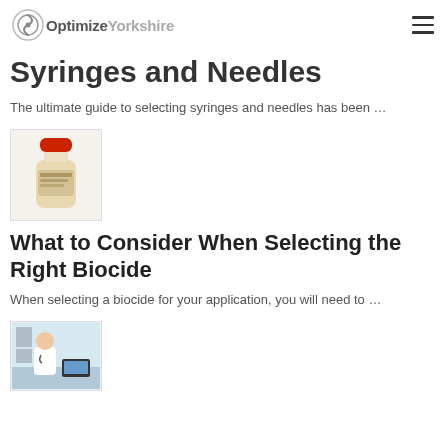OptimizeYorkshire
Syringes and Needles
The ultimate guide to selecting syringes and needles has been …
[Figure (photo): A brown/white bottle with a red cap, likely a biocide or chemical product, on a white background]
What to Consider When Selecting the Right Biocide
When selecting a biocide for your application, you will need to …
[Figure (photo): A doctor in a white coat sitting at a desk, reviewing documents or X-rays, with a laptop nearby]